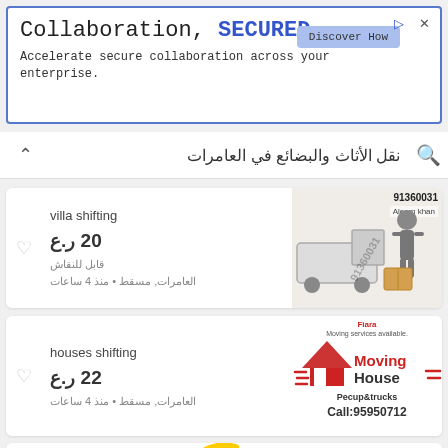[Figure (screenshot): Advertisement banner: 'Collaboration, SECURED.' with subtitle 'Accelerate secure collaboration across your enterprise.' and a 'Discover How' button]
نقل الأثاث والبضائع في العامرات
[Figure (photo): Listing card: villa shifting, 20 ر.ع قابل للنقاش, العامرات, مسقط • منذ 4 ساعات. Image shows a man with boxes and phone number 91360031.]
[Figure (photo): Listing card: houses shifting, 22 ر.ع, العامرات, مسقط • منذ 4 ساعات. Image shows Moving House logo with Pecup&trucks Call:95950712.]
[Figure (screenshot): Partial listing card with a colorful circular post button showing '+بع' and price 22 ر.ع, with Moving House logo on the right.]